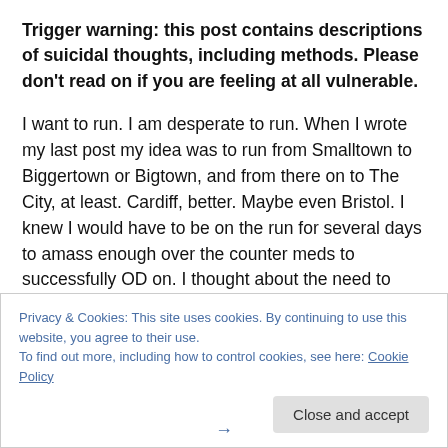Trigger warning: this post contains descriptions of suicidal thoughts, including methods. Please don't read on if you are feeling at all vulnerable.
I want to run. I am desperate to run. When I wrote my last post my idea was to run from Smalltown to Biggertown or Bigtown, and from there on to The City, at least. Cardiff, better. Maybe even Bristol. I knew I would have to be on the run for several days to amass enough over the counter meds to successfully OD on. I thought about the need to keep my phone off so I couldn't be tracked, the need to
Privacy & Cookies: This site uses cookies. By continuing to use this website, you agree to their use.
To find out more, including how to control cookies, see here: Cookie Policy